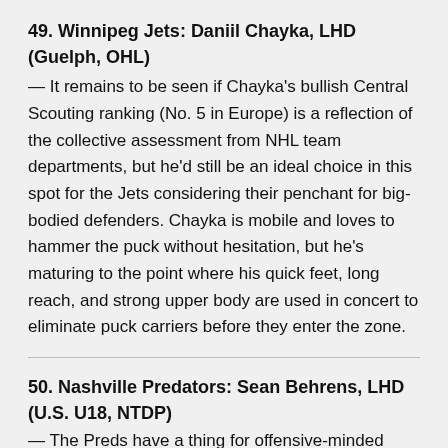49. Winnipeg Jets: Daniil Chayka, LHD (Guelph, OHL)
— It remains to be seen if Chayka's bullish Central Scouting ranking (No. 5 in Europe) is a reflection of the collective assessment from NHL team departments, but he'd still be an ideal choice in this spot for the Jets considering their penchant for big-bodied defenders. Chayka is mobile and loves to hammer the puck without hesitation, but he's maturing to the point where his quick feet, long reach, and strong upper body are used in concert to eliminate puck carriers before they enter the zone.
50. Nashville Predators: Sean Behrens, LHD (U.S. U18, NTDP)
— The Preds have a thing for offensive-minded defensemen, which is why they likely regret trading undersized puck-mover Samuel Girard to Colorado. Behrens at 5-foot-9 plays an attack-first style